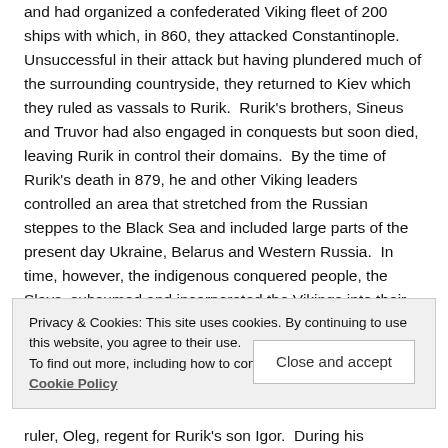and had organized a confederated Viking fleet of 200 ships with which, in 860, they attacked Constantinople. Unsuccessful in their attack but having plundered much of the surrounding countryside, they returned to Kiev which they ruled as vassals to Rurik.  Rurik's brothers, Sineus and Truvor had also engaged in conquests but soon died, leaving Rurik in control their domains.  By the time of Rurik's death in 879, he and other Viking leaders controlled an area that stretched from the Russian steppes to the Black Sea and included large parts of the present day Ukraine, Belarus and Western Russia.  In time, however, the indigenous conquered people, the Slavs, subsumed and incorporated the Vikings into their culture.
Privacy & Cookies: This site uses cookies. By continuing to use this website, you agree to their use. To find out more, including how to control cookies, see here: Cookie Policy
Close and accept
ruler, Oleg, regent for Rurik's son Igor.  During his